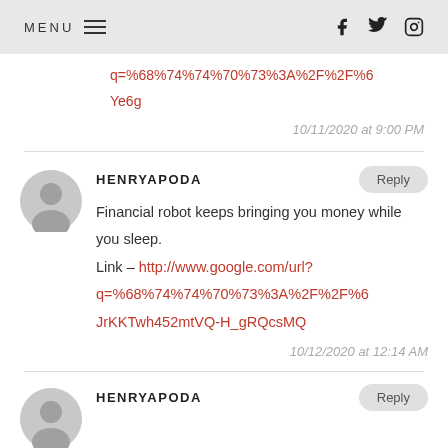MENU | social icons: facebook, twitter, instagram
q=%68%74%74%70%73%3A%2F%2F%6
Ye6g
10/11/2020 at 9:00 PM
HENRYAPODA
Financial robot keeps bringing you money while you sleep.
Link – http://www.google.com/url?
q=%68%74%74%70%73%3A%2F%2F%6
JrKKTwh452mtVQ-H_gRQcsMQ
10/12/2020 at 12:14 AM
HENRYAPODA